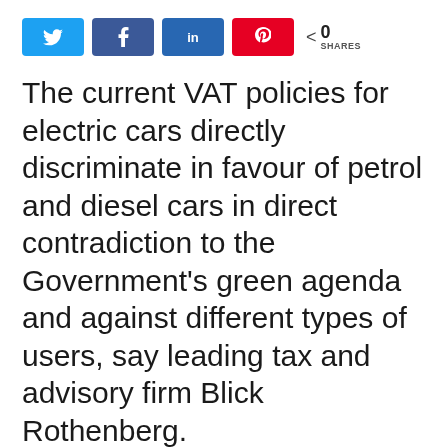[Figure (infographic): Social sharing buttons: Twitter (blue), Facebook (dark blue), LinkedIn (blue), Pinterest (red), with share count showing 0 SHARES]
The current VAT policies for electric cars directly discriminate in favour of petrol and diesel cars in direct contradiction to the Government's green agenda and against different types of users, say leading tax and advisory firm Blick Rothenberg.